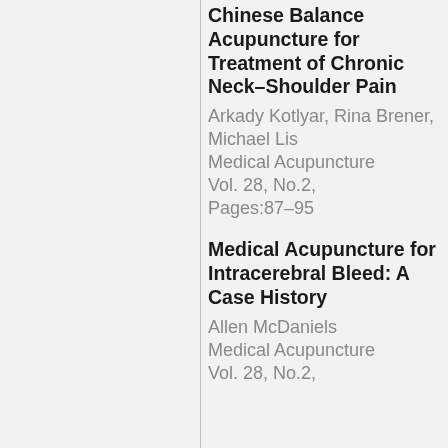Chinese Balance Acupuncture for Treatment of Chronic Neck–Shoulder Pain
Arkady Kotlyar, Rina Brener, Michael Lis
Medical Acupuncture
Vol. 28, No.2,
Pages:87–95
Medical Acupuncture for Intracerebral Bleed: A Case History
Allen McDaniels
Medical Acupuncture
Vol. 28, No.2,